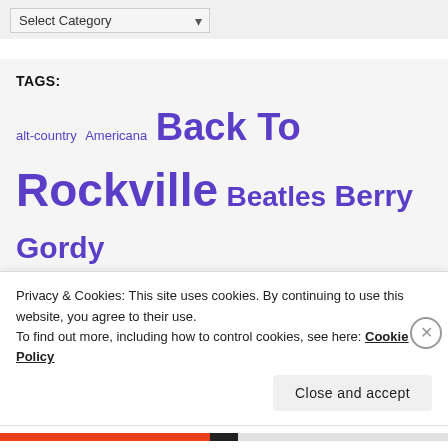[Figure (screenshot): A 'Select Category' dropdown UI element with a chevron arrow on the right, styled with a light gray background and border.]
TAGS:
alt-country Americana Back To Rockville Beatles Berry Gordy blues music Bob Dylan Bob Marley Brian Eno Bruce Springsteen country music David Ruffin
Privacy & Cookies: This site uses cookies. By continuing to use this website, you agree to their use.
To find out more, including how to control cookies, see here: Cookie Policy
Close and accept